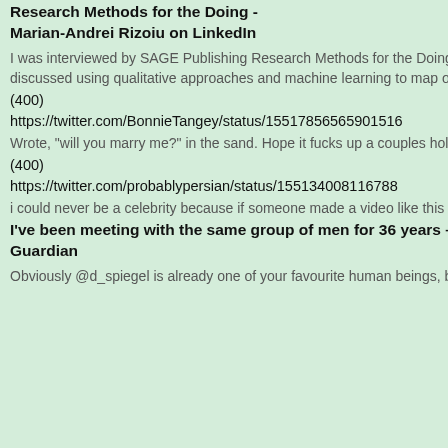Research Methods for the Doing - Marian-Andrei Rizoiu on LinkedIn
I was interviewed by SAGE Publishing Research Methods for the Doing Online Research case study collection (see ). I discussed using qualitative approaches and machine learning to map online problematic content. There is a strong fo...
(400)
https://twitter.com/BonnieTangey/status/15517856565901516
Wrote, “will you marry me?” in the sand. Hope it fucks up a couples holiday.
(400)
https://twitter.com/probablypersian/status/155134008116788
i could never be a celebrity because if someone made a video like this about me i would get violent
I’ve been meeting with the same group of men for 36 years – here’s what they’ve taught me | Men | The Guardian
Obviously @d_spiegel is already one of your favourite human beings, but this is extremely